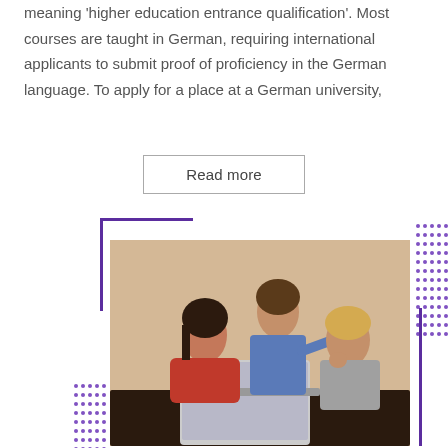meaning 'higher education entrance qualification'. Most courses are taught in German, requiring international applicants to submit proof of proficiency in the German language. To apply for a place at a German university,
Read more
[Figure (photo): Three students (two male, one female) looking at a laptop together, with purple decorative bracket and dot grid elements around the photo]